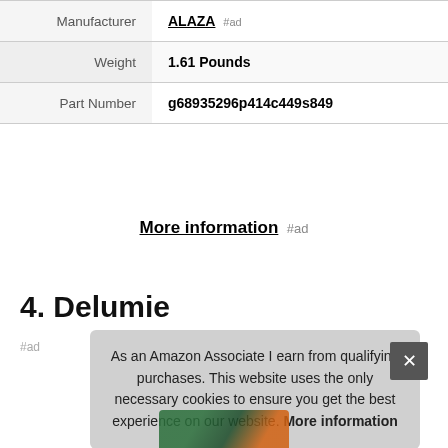| Manufacturer | ALAZA #ad |
| Weight | 1.61 Pounds |
| Part Number | g68935296p414c449s849 |
More information #ad
4. Delumie
#ad
As an Amazon Associate I earn from qualifying purchases. This website uses the only necessary cookies to ensure you get the best experience on our website. More information